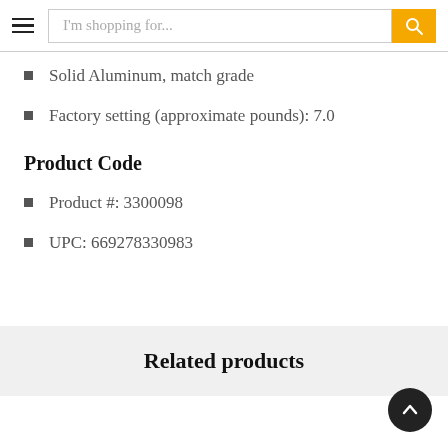I'm shopping for...
Solid Aluminum, match grade
Factory setting (approximate pounds): 7.0
Product Code
Product #: 3300098
UPC: 669278330983
Related products